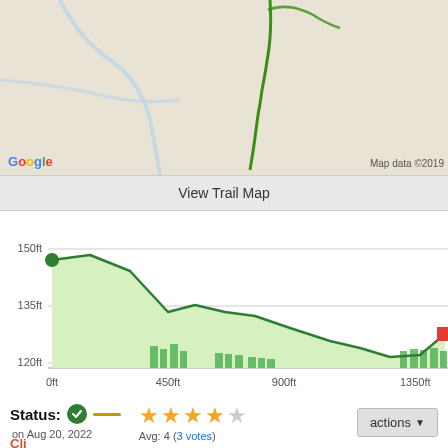[Figure (map): Google Maps aerial/road map showing trail routes with green lines on gray/beige terrain with blue road lines. Partial view showing 'Google' logo bottom-left and 'Map data ©2019' bottom-right.]
View Trail Map
[Figure (area-chart): Area/elevation chart showing trail elevation profile. Starts ~163ft, peaks ~165ft, descends to ~118ft, ends ~130ft. Green filled area with green line and markers. Y-axis shows 120ft, 135ft, 150ft. X-axis shows 0ft, 450ft, 900ft, 1350ft+. Green dot at start, red marker at end.]
Status: ✓ — on Aug 20, 2022
★★★★☆ Avg: 4 (3 votes)
actions ▼